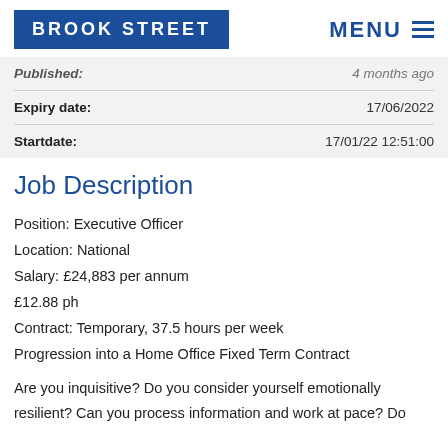BROOK STREET | MENU
| Field | Value |
| --- | --- |
| Published: | 4 months ago |
| Expiry date: | 17/06/2022 |
| Startdate: | 17/01/22 12:51:00 |
Job Description
Position: Executive Officer
Location: National
Salary: £24,883 per annum
£12.88 ph
Contract: Temporary, 37.5 hours per week
Progression into a Home Office Fixed Term Contract
Are you inquisitive? Do you consider yourself emotionally resilient? Can you process information and work at pace? Do